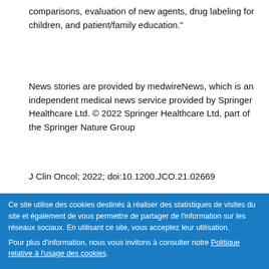comparisons, evaluation of new agents, drug labeling for children, and patient/family education."
News stories are provided by medwireNews, which is an independent medical news service provided by Springer Healthcare Ltd. © 2022 Springer Healthcare Ltd, part of the Springer Nature Group
J Clin Oncol; 2022; doi:10.1200.JCO.21.02669
https://pubmed.ncbi.nlm.nih.gov/35294262/
Ce site utilise des cookies destinés à réaliser des statistiques de visites du site et également de vous permettre de partager de l'information sur les réseaux sociaux. En utilisant ce site, vous acceptez leur utilisation. Pour plus d'information, nous vous invitons à consulter notre Politique relative à l'usage des cookies.